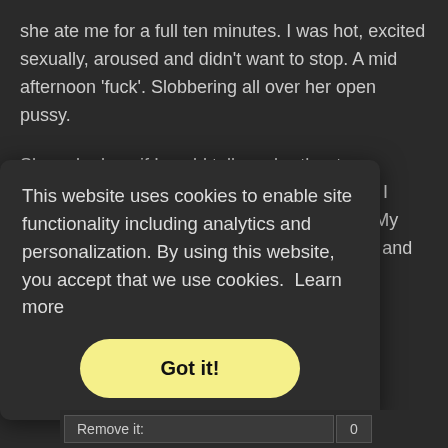she ate me for a full ten minutes. I was hot, excited sexually, aroused and didn't want to stop. A mid afternoon 'fuck'. Slobbering all over her open pussy.
She asked me if I could talk my brother to go negotiate a car for her, we would go and pay. I spent the night with her, my first big girl sex. My brother went to see the German the next day and
This website uses cookies to enable site functionality including analytics and personalization. By using this website, you accept that we use cookies.  Learn more
Got it!
Remove it: